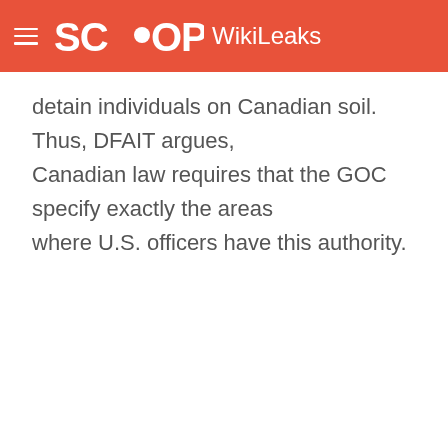SCOOP WikiLeaks
detain individuals on Canadian soil. Thus, DFAIT argues, Canadian law requires that the GOC specify exactly the areas where U.S. officers have this authority.